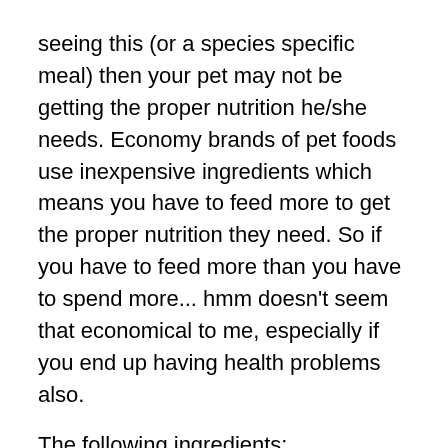seeing this (or a species specific meal) then your pet may not be getting the proper nutrition he/she needs. Economy brands of pet foods use inexpensive ingredients which means you have to feed more to get the proper nutrition they need. So if you have to feed more than you have to spend more... hmm doesn't seem that economical to me, especially if you end up having health problems also.
The following ingredients:
Herring Meal – this species specific meal is a great source of protein, DHA & EPA
Dried Egg Product – A great source of protein and Selenium, this is the whole egg without the